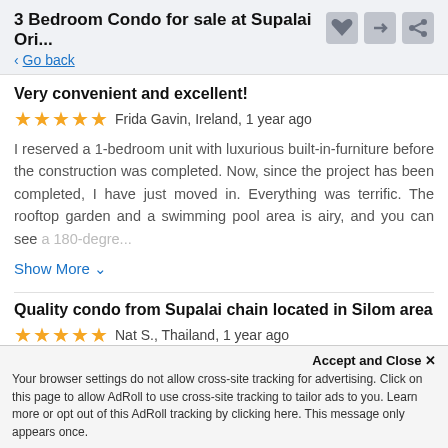3 Bedroom Condo for sale at Supalai Ori... < Go back
Very convenient and excellent!
★★★★★ Frida Gavin, Ireland, 1 year ago
I reserved a 1-bedroom unit with luxurious built-in-furniture before the construction was completed. Now, since the project has been completed, I have just moved in. Everything was terrific. The rooftop garden and a swimming pool area is airy, and you can see a 180-degre...
Show More ∨
Quality condo from Supalai chain located in Silom area
★★★★★ Nat S., Thailand, 1 year ago
It's a business district surrounded by many conveniences that make life colorful. The design is charming and modern. The 3-bedroom unit that I bought is a perfect arrangement, and all the
Accept and Close ✕
Your browser settings do not allow cross-site tracking for advertising. Click on this page to allow AdRoll to use cross-site tracking to tailor ads to you. Learn more or opt out of this AdRoll tracking by clicking here. This message only appears once.